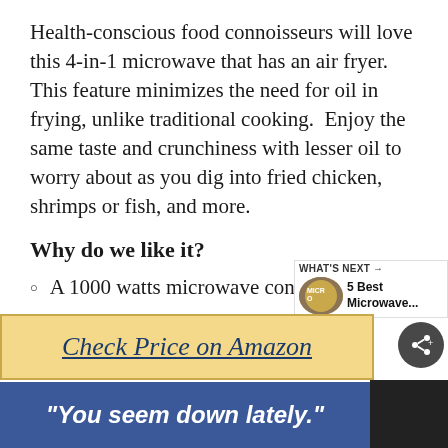Health-conscious food connoisseurs will love this 4-in-1 microwave that has an air fryer. This feature minimizes the need for oil in frying, unlike traditional cooking.  Enjoy the same taste and crunchiness with lesser oil to worry about as you dig into fried chicken, shrimps or fish, and more.
Why do we like it?
A 1000 watts microwave convection oven
Easy to clean and maintain
Soft, one-touch buttons to operate
[Figure (other): Red circular heart/like button overlay]
[Figure (other): Dark circular share button overlay]
[Figure (other): What's Next promotional widget showing '5 Best Microwave...' with thumbnail]
Check Price on Amazon
"You seem down lately."